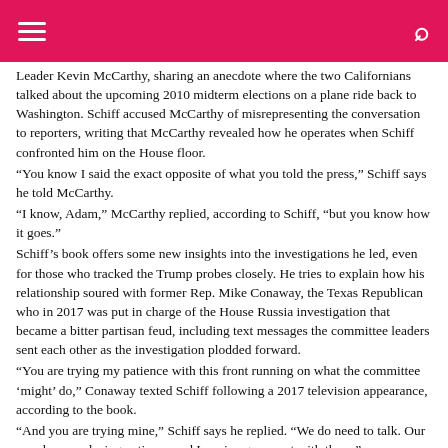Leader Kevin McCarthy, sharing an anecdote where the two Californians talked about the upcoming 2010 midterm elections on a plane ride back to Washington. Schiff accused McCarthy of misrepresenting the conversation to reporters, writing that McCarthy revealed how he operates when Schiff confronted him on the House floor.
"You know I said the exact opposite of what you told the press," Schiff says he told McCarthy.
"I know, Adam," McCarthy replied, according to Schiff, "but you know how it goes."
Schiff’s book offers some new insights into the investigations he led, even for those who tracked the Trump probes closely. He tries to explain how his relationship soured with former Rep. Mike Conaway, the Texas Republican who in 2017 was put in charge of the House Russia investigation that became a bitter partisan feud, including text messages the committee leaders sent each other as the investigation plodded forward.
"You are trying my patience with this front running on what the committee ‘might’ do," Conaway texted Schiff following a 2017 television appearance, according to the book.
"And you are trying mine," Schiff says he replied. "We do need to talk. Our members are losing patience and I am in agreement with them."
‘THE FOUR AND THE 40 MILLION’